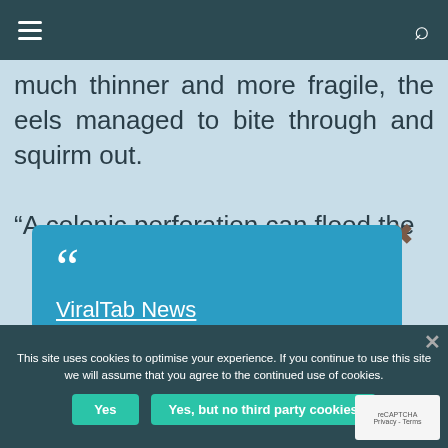Navigation bar with menu and search icons
much thinner and more fragile, the eels managed to bite through and squirm out.
“A colonic perforation can flood the
[Figure (other): Blue promotional box with large quote mark icon and underlined link text 'ViralTab News']
(147 ends)WORDS: 922
and dedicated to professional ind...ts
This site uses cookies to optimise your experience. If you continue to use this site we will assume that you agree to the continued use of cookies.